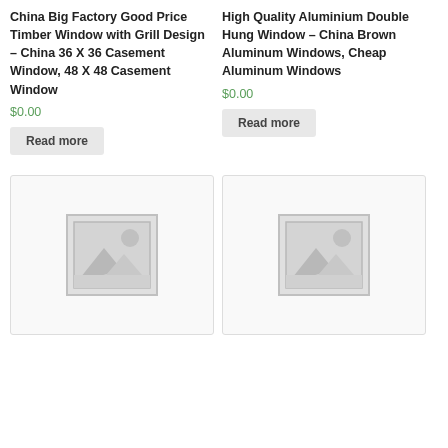China Big Factory Good Price Timber Window with Grill Design – China 36 X 36 Casement Window, 48 X 48 Casement Window
$0.00
Read more
High Quality Aluminium Double Hung Window – China Brown Aluminum Windows, Cheap Aluminum Windows
$0.00
Read more
[Figure (illustration): Placeholder image with mountain and sun icon, grey tones]
[Figure (illustration): Placeholder image with mountain and sun icon, grey tones]